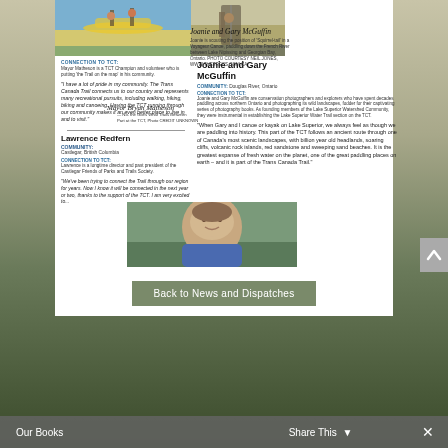[Figure (photo): Canoe paddling scene on water with people in yellow canoe, blue sky]
[Figure (photo): Person working in a field with tall grasses and equipment]
CONNECTION TO TCT: Mayor Matheson is a TCT Champion and volunteer who is putting 'the Trail on the map' in his community.
"I have a lot of pride in my community. The Trans Canada Trail connects us to our country and represents many recreational pursuits, including walking, hiking, biking and canoeing. Having the TCT running through our community makes it an even better place to live in and to visit."
Joanie and Gary McGuffin
Joanie is scouting the position of 'Squirrel-tail' in a Voyageur Canoe, paddling down the French River between Lake Nipissing and Georgian Bay, Ontario. PHOTO COURTESY NEIL JONES, WWW.THETRECS.COM.CA
COMMUNITY: Douglas River, Ontario
CONNECTION TO TCT: Joanie and Gary McGuffin are conservation photographers and explorers who have spent decades paddling across northern Ontario and photographing its wild landscapes, fodder for their captivating series of photography books. As founding members of the Lake Superior Watershed Community, they were instrumental in establishing the Lake Superior Water Trail section on the TCT.
"When Gary and I canoe or kayak on Lake Superior, we always feel as though we are paddling into history. This part of the TCT follows an ancient route through one of Canada's most scenic landscapes, with billion year old headlands, soaring cliffs, volcanic rock islands, red sandstone and sweeping sand beaches. It is the greatest expanse of fresh water on the planet, one of the great paddling places on earth – and it is part of the Trans Canada Trail."
Lawrence Redfern
COMMUNITY: Castlegar, British Columbia
CONNECTION TO TCT: Lawrence is a longtime director and past president of the Castlegar Friends of Parks and Trails Society.
"We've been trying to connect the Trail through our region for years. Now I know it will be connected in the next year or two, thanks to the support of the TCT. I am very excited to..."
Mayor Bryan Matheson — No. the Goes What Trails Between Jacksonhavens, Part at the TCT, Photo CREDIT UNKNOWN
[Figure (photo): Portrait photo of a smiling man with short brown hair]
Back to News and Dispatches
Our Books
Share This
×